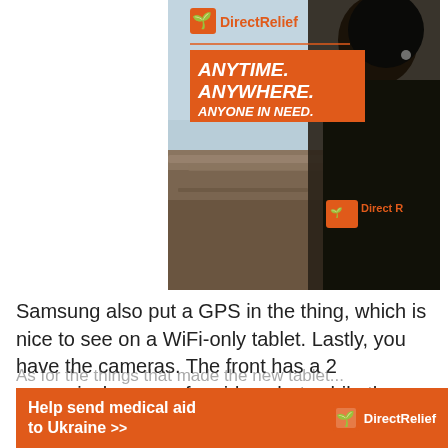[Figure (photo): Direct Relief charity advertisement showing a person in a black Direct Relief jacket overlooking rubble/disaster area, with orange banner reading ANYTIME. ANYWHERE. ANYONE IN NEED. and the Direct Relief logo]
Samsung also put a GPS in the thing, which is nice to see on a WiFi-only tablet. Lastly, you have the cameras. The front has a 2 megapixel camera for video chat, while the back has a 3.2 megapixel autofocus camera and a LED light.
[Figure (infographic): Orange banner advertisement at bottom: Help send medical aid to Ukraine >> with Direct Relief logo on white background]